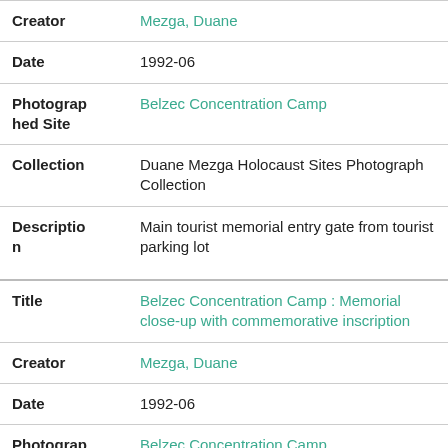| Creator | Mezga, Duane |
| Date | 1992-06 |
| Photographed Site | Belzec Concentration Camp |
| Collection | Duane Mezga Holocaust Sites Photograph Collection |
| Description | Main tourist memorial entry gate from tourist parking lot |
| Title | Belzec Concentration Camp : Memorial close-up with commemorative inscription |
| Creator | Mezga, Duane |
| Date | 1992-06 |
| Photographed Site | Belzec Concentration Camp |